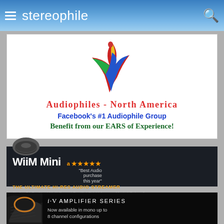stereophile
[Figure (advertisement): Audiophiles - North America Facebook group ad with colorful bird-like logo. Text: Audiophiles - North America, Facebook's #1 Audiophile Group, Benefit from our EARS of Experience!]
[Figure (advertisement): WiiM Mini audio streamer ad on dark background. Text: WiiM Mini, THE ULTIMATE HI-RES AUDIO STREAMER, Amazon 5-star rating, Best Audio purchase this year. Features: Airplay 2, Gapless, Multi-Room, Spotify, Tidal, Amazon Music, Qobuz & more]
[Figure (advertisement): i.V Amplifier Series ad on black background with close-up of amplifier hardware. Text: i·V AMPLIFIER SERIES, Now available in mono up to 8 channel configurations]